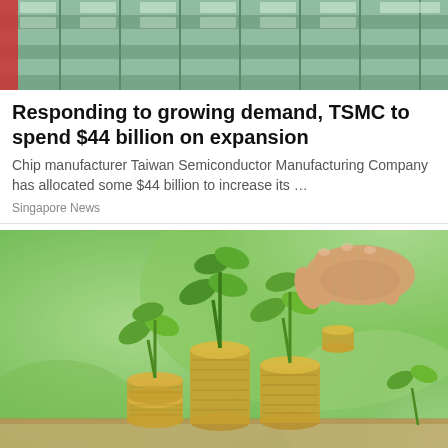[Figure (photo): Photo of a modern building exterior with glass facade and green panels]
Responding to growing demand, TSMC to spend $44 billion on expansion
Chip manufacturer Taiwan Semiconductor Manufacturing Company has allocated some $44 billion to increase its …
Singapore News
[Figure (photo): Photo of a hand placing a coin on top of stacked coins with green plant sprouts growing from them, against a soft green background — symbolizing investment and financial growth]